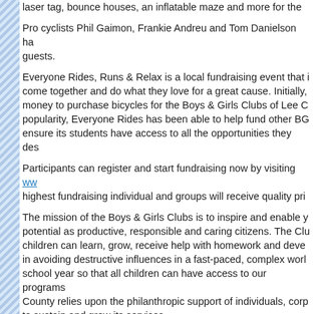laser tag, bounce houses, an inflatable maze and more for the...
Pro cyclists Phil Gaimon, Frankie Andreu and Tom Danielson ha... guests.
Everyone Rides, Runs & Relax is a local fundraising event that i... ensure its students have access to all the opportunities they des...
Participants can register and start fundraising now by visiting ww... highest fundraising individual and groups will receive quality pri...
The mission of the Boys & Girls Clubs is to inspire and enable y... to sustain and grow its services.
For more information about the Boys & Girls Clubs of Lee Coun... 239-334-1886 or visit www.BGCLC.net.
Tags: Boys & Girls Clubs of Lee County, Chef Marbin Alvilez, every... Relax, Firestone Grille, Firestone Grille & Sky Bar, Lee County, S... Southwest Florida BGCLC, SW Florida Charity Events, SW Florid...